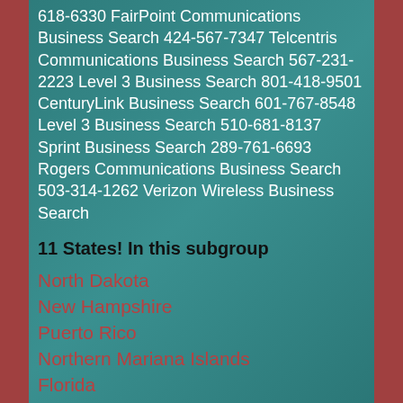618-6330 FairPoint Communications Business Search 424-567-7347 Telcentris Communications Business Search 567-231-2223 Level 3 Business Search 801-418-9501 CenturyLink Business Search 601-767-8548 Level 3 Business Search 510-681-8137 Sprint Business Search 289-761-6693 Rogers Communications Business Search 503-314-1262 Verizon Wireless Business Search
11 States! In this subgroup
North Dakota
New Hampshire
Puerto Rico
Northern Mariana Islands
Florida
Wyoming
Virginia
New York